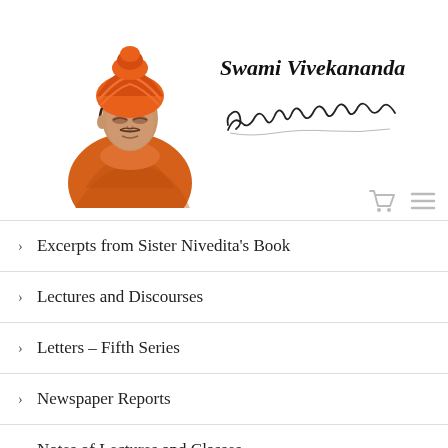[Figure (illustration): Portrait of Swami Vivekananda wearing orange robes and orange turban, facing slightly right, eyes downcast]
Swami Vivekananda
[Figure (illustration): Handwritten signature of Swami Vivekananda in cursive script]
Excerpts from Sister Nivedita's Book
Lectures and Discourses
Letters – Fifth Series
Newspaper Reports
Notes of Lectures and Classes
Sayings and Utterances